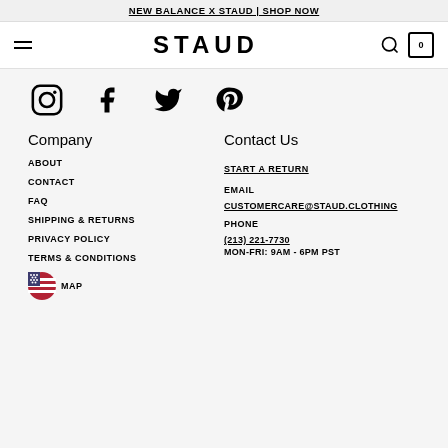NEW BALANCE X STAUD | SHOP NOW
STAUD
[Figure (illustration): Social media icons: Instagram, Facebook, Twitter, Pinterest]
Company
Contact Us
ABOUT
START A RETURN
CONTACT
EMAIL CUSTOMERCARE@STAUD.CLOTHING
FAQ
PHONE (213) 221-7730 MON-FRI: 9AM - 6PM PST
SHIPPING & RETURNS
PRIVACY POLICY
TERMS & CONDITIONS
SITEMAP